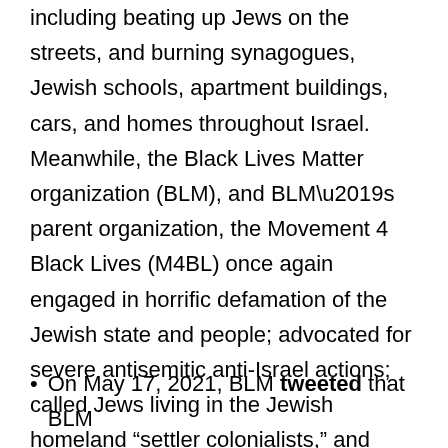including beating up Jews on the streets, and burning synagogues, Jewish schools, apartment buildings, cars, and homes throughout Israel. Meanwhile, the Black Lives Matter organization (BLM), and BLM’s parent organization, the Movement 4 Black Lives (M4BL) once again engaged in horrific defamation of the Jewish state and people; advocated for severe antisemitic anti-Israel actions; called Jews living in the Jewish homeland “settler colonialists,” and stood in “solidarity” with Palestinian Arab and Hamas terrorists. For instance:
On May 17, 2021, BLM tweeted that BLM